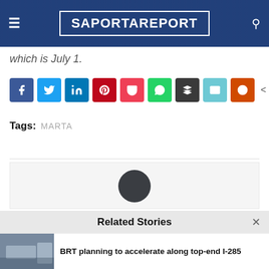SaportaReport
which is July 1.
[Figure (infographic): Social media share buttons: Facebook, Twitter, LinkedIn, Pinterest, Pocket, WhatsApp, Buffer, Email, Reddit. Share count: 0 SHARES.]
Tags: MARTA
[Figure (infographic): Author avatar circle above author bio box area]
Related Stories
BRT planning to accelerate along top-end I-285